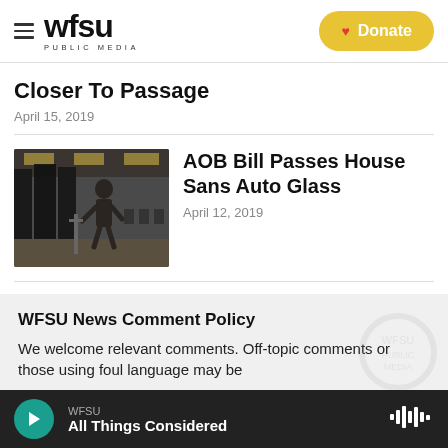WFSU PUBLIC MEDIA
Closer To Passage
April 15, 2019
[Figure (photo): Person working on glass panels in a workshop or warehouse setting]
AOB Bill Passes House Sans Auto Glass
April 12, 2019
WFSU News Comment Policy
We welcome relevant comments. Off-topic comments or those using foul language may be
WFSU — All Things Considered